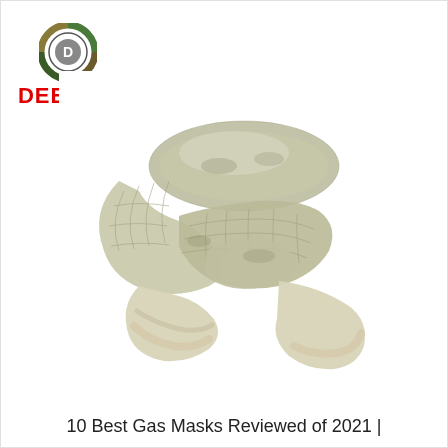[Figure (logo): DEEKON brand logo with circular camouflage-patterned badge containing letter D, and bold red text DEEKON below]
[Figure (photo): A military-style mesh camouflage scarf/veil in olive/tan colors, loosely coiled and draped on white background]
10 Best Gas Masks Reviewed of 2021 |